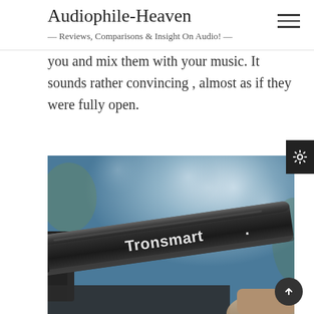Audiophile-Heaven — Reviews, Comparisons & Insight On Audio! —
you and mix them with your music. It sounds rather convincing , almost as if they were fully open.
[Figure (photo): Close-up photograph of a Tronsmart headphone headband, black in color, with the 'Tronsmart' brand name visible in white text on the band. Background is blurred with bokeh effect showing blue-grey tones, likely an outdoor setting.]